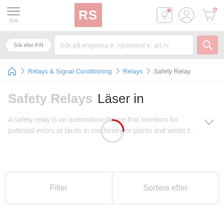RS Components – Navigation header with hamburger menu, RS logo, map pin, user, and cart icons
Sök
Sök på engelska e. nyckelord e. art.nr
Sök efter P/N
Relays & Signal Conditioning > Relays > Safety Relays
Safety Relays  Läser in
A safety relay is an automation device that monitors for potential errors or faults in machinery or plants and works t…
Filter
Sortera efter